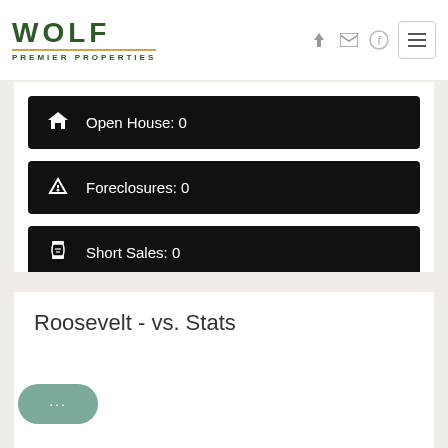WOLF PREMIER PROPERTIES
Open House: 0
Foreclosures: 0
Short Sales: 0
Roosevelt - vs. Stats